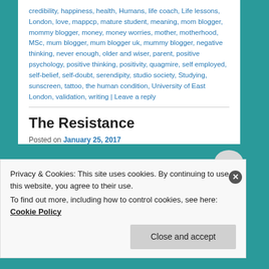credibility, happiness, health, Humans, life coach, Life lessons, London, love, mappcp, mature student, meaning, mom blogger, mommy blogger, money, money worries, mother, motherhood, MSc, mum blogger, mum blogger uk, mummy blogger, negative thinking, never enough, older and wiser, parent, positive psychology, positive thinking, positivity, quagmire, self employed, self-belief, self-doubt, serendipity, studio society, Studying, sunscreen, tattoo, the human condition, University of East London, validation, writing | Leave a reply
The Resistance
Posted on January 25, 2017
Privacy & Cookies: This site uses cookies. By continuing to use this website, you agree to their use.
To find out more, including how to control cookies, see here: Cookie Policy